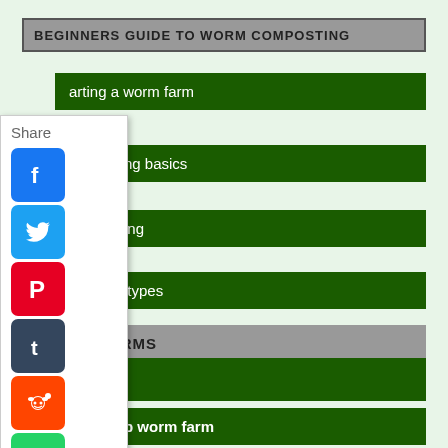BEGINNERS GUIDE TO WORM COMPOSTING
arting a worm farm
rm farming basics
rm bedding
rthworm types
RM FARMS
orm Bins
Pet poop worm farm
[Figure (infographic): Share panel with social media icons: Facebook, Twitter, Pinterest, Tumblr, Reddit, WhatsApp, Messenger]